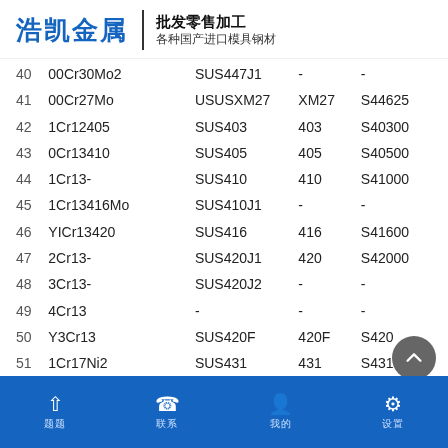浩凯金属 | 批发零售加工 各种国产进口模具钢材
| No. | 中国牌号 | 日本JIS | 美国AISI | UNS |
| --- | --- | --- | --- | --- |
| 40 | 00Cr30Mo2 | SUS447J1 | - | - |
| 41 | 00Cr27Mo | USUSXM27 | XM27 | S44625 |
| 42 | 1Cr12405 | SUS403 | 403 | S40300 |
| 43 | 0Cr13410 | SUS405 | 405 | S40500 |
| 44 | 1Cr13- | SUS410 | 410 | S41000 |
| 45 | 1Cr13416Mo | SUS410J1 | - | - |
| 46 | YICr13420 | SUS416 | 416 | S41600 |
| 47 | 2Cr13- | SUS420J1 | 420 | S42000 |
| 48 | 3Cr13- | SUS420J2 | - | - |
| 49 | 4Cr13 | - | - | - |
| 50 | Y3Cr13 | SUS420F | 420F | S420… |
| 51 | 1Cr17Ni2 | SUS431 | 431 | S431… |
| 52 | 7Cr17 | SUS440A | 440A | S44002 |
底部导航：首页 / 联系 / 我的 / 设置